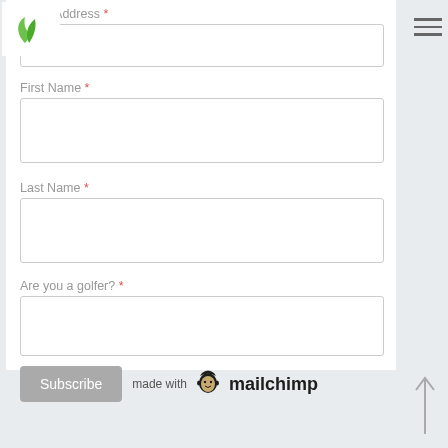[Figure (logo): Green plant/leaf logo icon, two green leaf shapes forming an abstract plant]
Email Address *
First Name *
Last Name *
Are you a golfer? *
Subscribe
[Figure (logo): made with mailchimp logo badge with monkey icon]